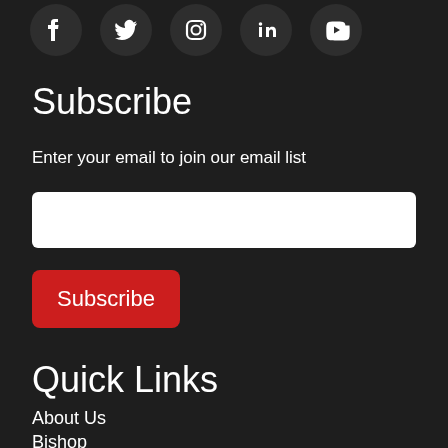[Figure (illustration): Row of five social media icon circles (Facebook, Twitter, Instagram, LinkedIn, YouTube) on dark background, partially cropped at top]
Subscribe
Enter your email to join our email list
[Figure (other): White rectangular email input field]
[Figure (other): Red Subscribe button with white text]
Quick Links
About Us
Bishop